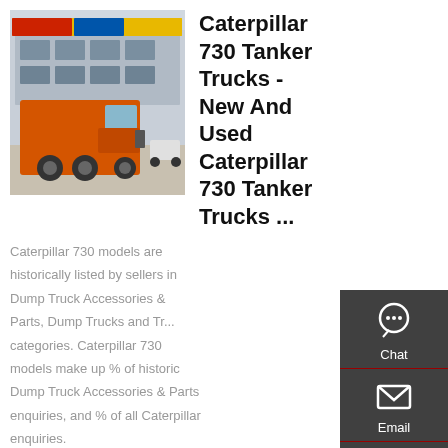[Figure (photo): Orange Caterpillar 730 tanker/dump truck parked in front of a building with colorful signage, outdoor scene.]
Caterpillar 730 Tanker Trucks - New And Used Caterpillar 730 Tanker Trucks ...
Caterpillar 730 models are historically listed by sellers in Dump Truck Accessories & Parts, Dump Trucks and Tr... categories. Caterpillar 730 models make up % of historic Dump Truck Accessories & Parts enquiries, and % of all Caterpillar enquiries.
[Figure (infographic): Sidebar with Chat, Email, Contact, and Top navigation icons on dark grey background.]
Get a Quote